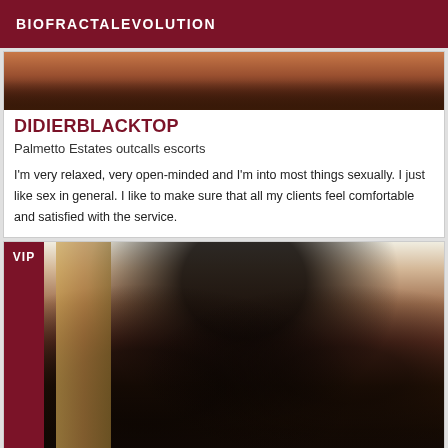BIOFRACTALEVOLUTION
[Figure (photo): Top portion of a person, cropped photo used as listing image]
DIDIERBLACKTOP
Palmetto Estates outcalls escorts
I'm very relaxed, very open-minded and I'm into most things sexually. I just like sex in general. I like to make sure that all my clients feel comfortable and satisfied with the service.
[Figure (photo): VIP listing photo of a woman with long curly black hair, face blurred]